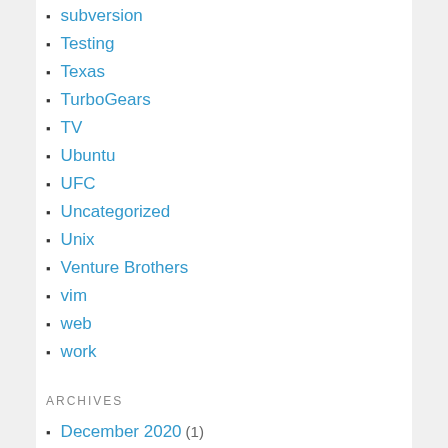subversion
Testing
Texas
TurboGears
TV
Ubuntu
UFC
Uncategorized
Unix
Venture Brothers
vim
web
work
ARCHIVES
December 2020 (1)
September 2019 (1)
August 2019 (1)
March 2019 (1)
February 2019 (1)
January 2019 (1)